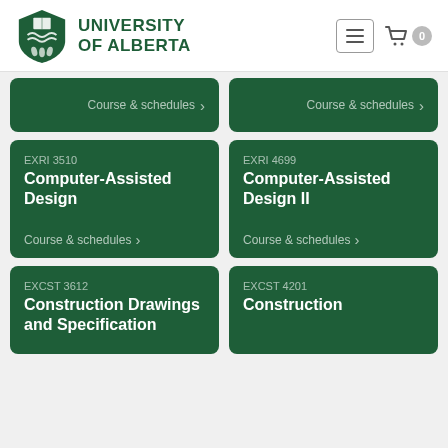[Figure (logo): University of Alberta logo with shield crest and text]
Course & schedules (partial card row, two cards)
EXRI 3510 Computer-Assisted Design
Course & schedules
EXRI 4699 Computer-Assisted Design II
Course & schedules
EXCST 3612 Construction Drawings and Specifications
EXCST 4201 Construction